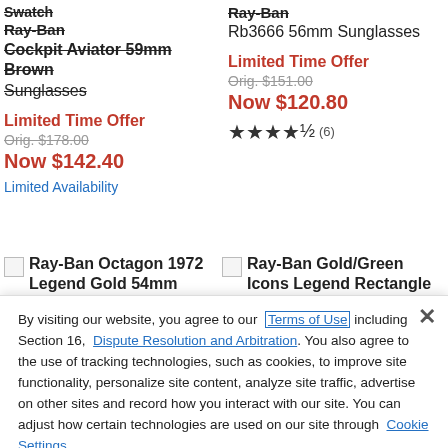Swatch
Ray-Ban
Cockpit Aviator 59mm
Brown
Sunglasses
Limited Time Offer
Orig. $178.00
Now $142.40
Limited Availability
Ray-Ban
Rb3666 56mm Sunglasses
Limited Time Offer
Orig. $151.00
Now $120.80
★★★★½ (6)
[Figure (other): Thumbnail image placeholder for Ray-Ban Octagon 1972 Legend Gold 54mm]
Ray-Ban Octagon 1972 Legend Gold 54mm
[Figure (other): Thumbnail image placeholder for Ray-Ban Gold/Green Icons Legend Rectangle]
Ray-Ban Gold/Green Icons Legend Rectangle
By visiting our website, you agree to our Terms of Use including Section 16, Dispute Resolution and Arbitration. You also agree to the use of tracking technologies, such as cookies, to improve site functionality, personalize site content, analyze site traffic, advertise on other sites and record how you interact with our site. You can adjust how certain technologies are used on our site through Cookie Settings.